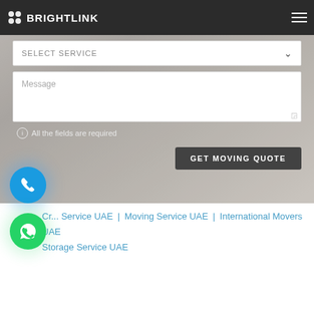BrightLink
[Figure (screenshot): Web form UI with SELECT SERVICE dropdown, Message textarea, and GET MOVING QUOTE button overlaid on a blurred background photo of bedding/fabric.]
ⓘ All the fields are required
[Figure (other): Blue circular phone call button]
[Figure (other): Green circular WhatsApp button]
Cr... Service UAE | Moving Service UAE | International Movers UAE | Storage Service UAE